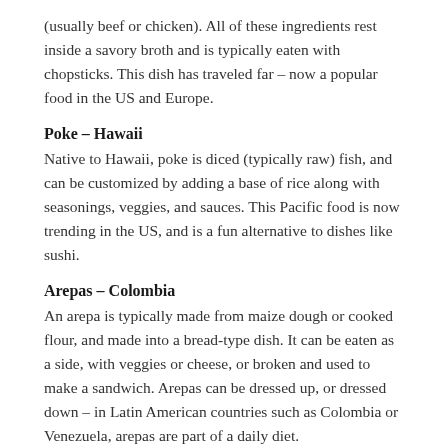(usually beef or chicken). All of these ingredients rest inside a savory broth and is typically eaten with chopsticks. This dish has traveled far – now a popular food in the US and Europe.
Poke – Hawaii
Native to Hawaii, poke is diced (typically raw) fish, and can be customized by adding a base of rice along with seasonings, veggies, and sauces. This Pacific food is now trending in the US, and is a fun alternative to dishes like sushi.
Arepas – Colombia
An arepa is typically made from maize dough or cooked flour, and made into a bread-type dish. It can be eaten as a side, with veggies or cheese, or broken and used to make a sandwich. Arepas can be dressed up, or dressed down – in Latin American countries such as Colombia or Venezuela, arepas are part of a daily diet.